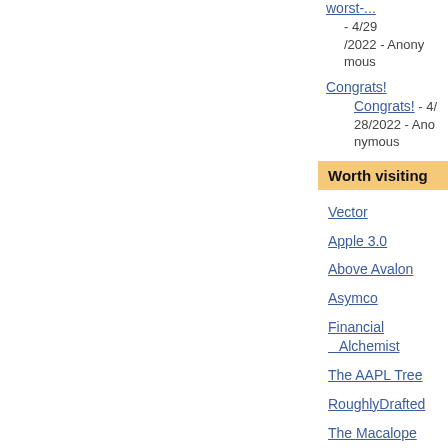worst-... - 4/29/2022 - Anonymous
Congrats! Congrats! - 4/28/2022 - Anonymous
Worth visiting
Vector
Apple 3.0
Above Avalon
Asymco
Financial Alchemist
The AAPL Tree
RoughlyDrafted
The Macalope
Techpinions